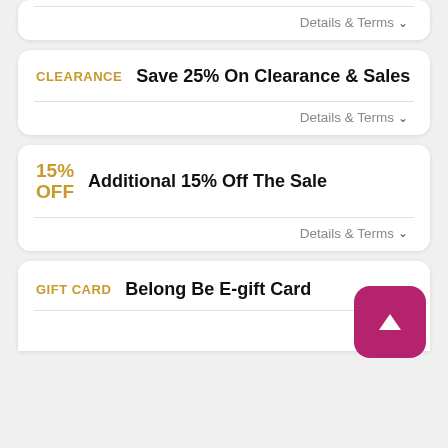Details & Terms ∨
CLEARANCE   Save 25% On Clearance & Sales
Details & Terms ∨
15% OFF   Additional 15% Off The Sale
Details & Terms ∨
GIFT CARD   Belong Be E-gift Card